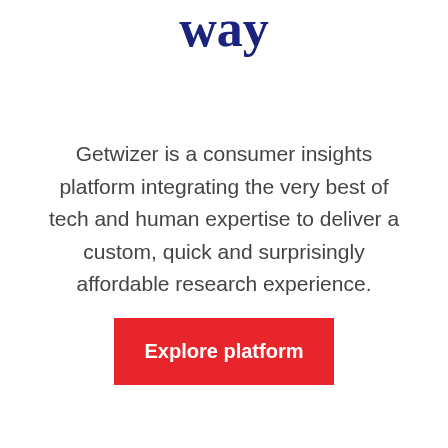we were born this way
Getwizer is a consumer insights platform integrating the very best of tech and human expertise to deliver a custom, quick and surprisingly affordable research experience.
[Figure (other): Red call-to-action button labeled 'Explore platform']